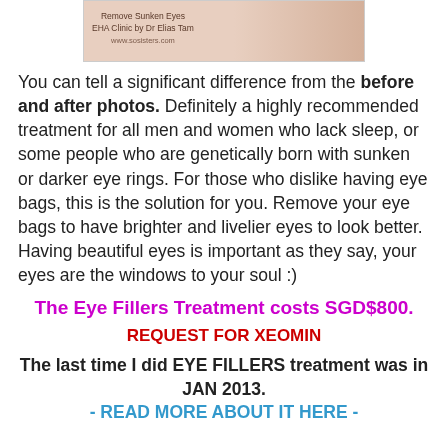[Figure (photo): Photo banner for 'Remove Sunken Eyes - EHA Clinic by Dr Elias Tam, www.sosisters.com' with skin-toned background and hand/face imagery]
You can tell a significant difference from the before and after photos. Definitely a highly recommended treatment for all men and women who lack sleep, or some people who are genetically born with sunken or darker eye rings. For those who dislike having eye bags, this is the solution for you. Remove your eye bags to have brighter and livelier eyes to look better. Having beautiful eyes is important as they say, your eyes are the windows to your soul :)
The Eye Fillers Treatment costs SGD$800.
REQUEST FOR XEOMIN
The last time I did EYE FILLERS treatment was in JAN 2013.
- READ MORE ABOUT IT HERE -